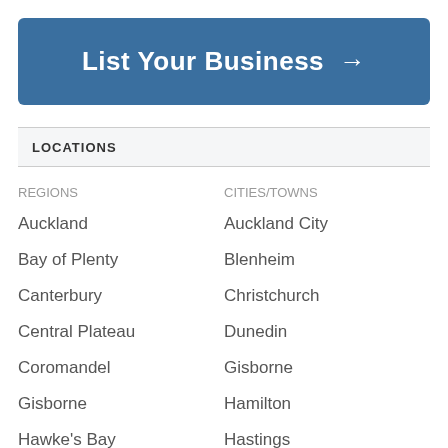List Your Business →
LOCATIONS
REGIONS
Auckland
Bay of Plenty
Canterbury
Central Plateau
Coromandel
Gisborne
Hawke's Bay
CITIES/TOWNS
Auckland City
Blenheim
Christchurch
Dunedin
Gisborne
Hamilton
Hastings